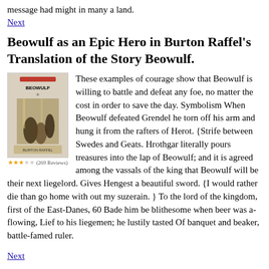message had might in many a land.
Next
Beowulf as an Epic Hero in Burton Raffel's Translation of the Story Beowulf.
[Figure (illustration): Book cover of Beowulf by Burton Raffel with star rating and review count (3 stars, 269 Reviews)]
These examples of courage show that Beowulf is willing to battle and defeat any foe, no matter the cost in order to save the day. Symbolism When Beowulf defeated Grendel he torn off his arm and hung it from the rafters of Herot. {Strife between Swedes and Geats. Hrothgar literally pours treasures into the lap of Beowulf; and it is agreed among the vassals of the king that Beowulf will be their next liegelord. Gives Hengest a beautiful sword. {I would rather die than go home with out my suzerain. } To the lord of the kingdom, first of the East-Danes, 60 Bade him be blithesome when beer was a-flowing, Lief to his liegemen; he lustily tasted Of banquet and beaker, battle-famed ruler.
Next